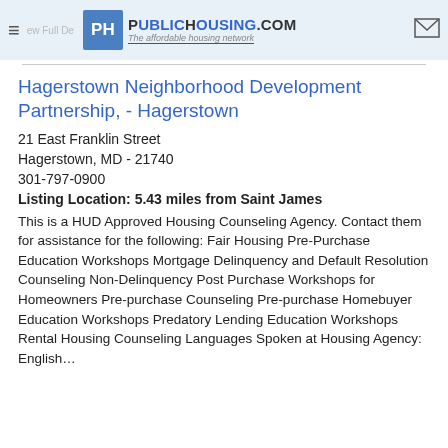PublicHousing.com — The affordable housing network
Hagerstown Neighborhood Development Partnership, - Hagerstown
21 East Franklin Street
Hagerstown, MD - 21740
301-797-0900
Listing Location: 5.43 miles from Saint James
This is a HUD Approved Housing Counseling Agency. Contact them for assistance for the following: Fair Housing Pre-Purchase Education Workshops Mortgage Delinquency and Default Resolution Counseling Non-Delinquency Post Purchase Workshops for Homeowners Pre-purchase Counseling Pre-purchase Homebuyer Education Workshops Predatory Lending Education Workshops Rental Housing Counseling Languages Spoken at Housing Agency: English...